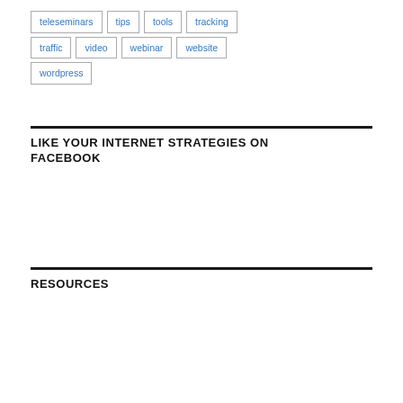teleseminars
tips
tools
tracking
traffic
video
webinar
website
wordpress
LIKE YOUR INTERNET STRATEGIES ON FACEBOOK
RESOURCES